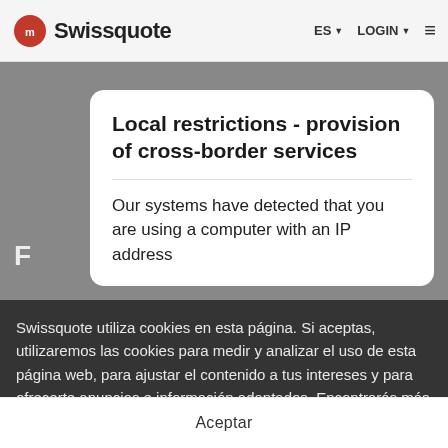Swissquote | ES | LOGIN
[Figure (screenshot): Swissquote website screenshot with FAQ background image and modal dialog]
Local restrictions - provision of cross-border services
Our systems have detected that you are using a computer with an IP address
Swissquote utiliza cookies en esta página. Si aceptas, utilizaremos las cookies para medir y analizar el uso de esta página web, para ajustar el contenido a tus intereses y para ofrecerte anuncios e información adaptados. Encontrarás más información en nuestra Declaración sobre el Uso de Cookies | Personalizar mis preferencias
Aceptar